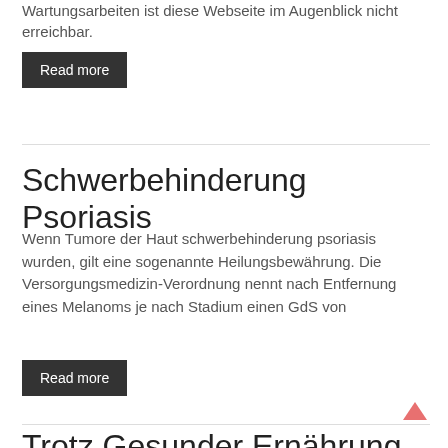Wartungsarbeiten ist diese Webseite im Augenblick nicht erreichbar.
Read more
Schwerbehinderung Psoriasis
Wenn Tumore der Haut schwerbehinderung psoriasis wurden, gilt eine sogenannte Heilungsbewährung. Die Versorgungsmedizin-Verordnung nennt nach Entfernung eines Melanoms je nach Stadium einen GdS von
Read more
Trotz Gesunder Ernährung Keine